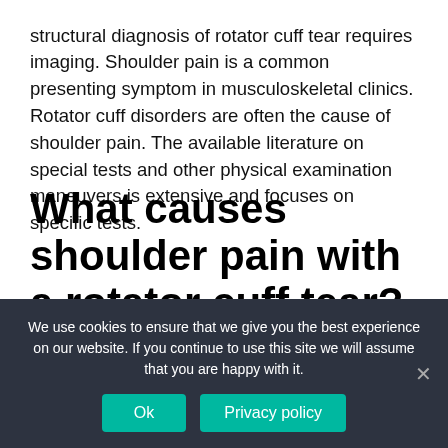structural diagnosis of rotator cuff tear requires imaging. Shoulder pain is a common presenting symptom in musculoskeletal clinics. Rotator cuff disorders are often the cause of shoulder pain. The available literature on special tests and other physical examination maneuvers is extensive and focuses on specific tests.
What causes shoulder pain with a rotator cuff tear?
Inflammation seems to be one of the major causes of pain in shoulders with a rotator cuff tear. In fact, oral medication
We use cookies to ensure that we give you the best experience on our website. If you continue to use this site we will assume that you are happy with it.